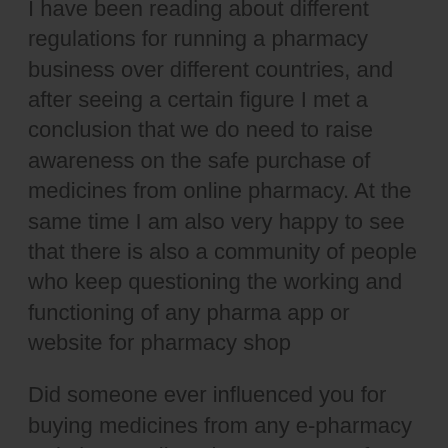I have been reading about different regulations for running a pharmacy business over different countries, and after seeing a certain figure I met a conclusion that we do need to raise awareness on the safe purchase of medicines from online pharmacy. At the same time I am also very happy to see that there is also a community of people who keep questioning the working and functioning of any pharma app or website for pharmacy shop
Did someone ever influenced you for buying medicines from any e-pharmacy website or online pharmacy app? If yes then you must have thought about some of these questions. How will you make sure that you are having a good deal? How you will make sure that The medicines you are going to buy online are really safe and approved by physicians or pharmacologists